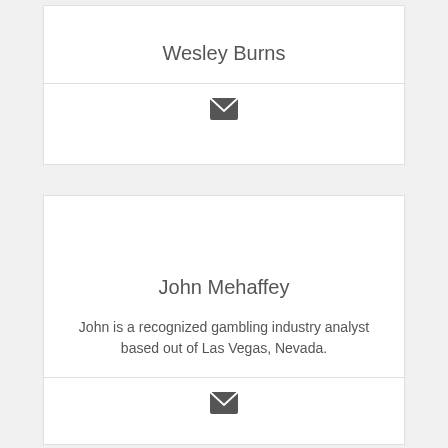Wesley Burns
[Figure (illustration): Envelope/email icon in dark gray]
John Mehaffey
John is a recognized gambling industry analyst based out of Las Vegas, Nevada.
[Figure (illustration): Envelope/email icon in dark gray]